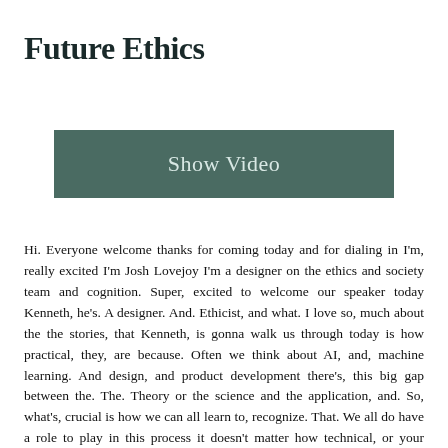Future Ethics
[Figure (other): A teal/dark green rectangular button labeled 'Show Video']
Hi. Everyone welcome thanks for coming today and for dialing in I'm, really excited I'm Josh Lovejoy I'm a designer on the ethics and society team and cognition. Super, excited to welcome our speaker today Kenneth, he's. A designer. And. Ethicist, and what. I love so, much about the the stories, that Kenneth, is gonna walk us through today is how practical, they, are because. Often we think about AI, and, machine learning. And design, and product development there's, this big gap between the. The. Theory or the science and the application, and. So, what's, crucial is how we can all learn to, recognize. That. We all do have a role to play in this process it doesn't matter how technical, or your perception, of your expertise, around ethics or around AI, everyone. Has a role to play and. Everyone has the kind of responsibility, to ask questions so. Anyway, super, excited to have Kenneth here and, great. Take it away Thanks. Hi. Folks and before I before, I start, these. Are kind of jet lag slides, you, know we know the sort I've been tweaking them so they're not super. Polished and they took maybe a little too rough around the edges but I think we're gonna have. Time. For Q&A afterwards, as well just have a chat about anything that's not. Clear anything you'd like to go